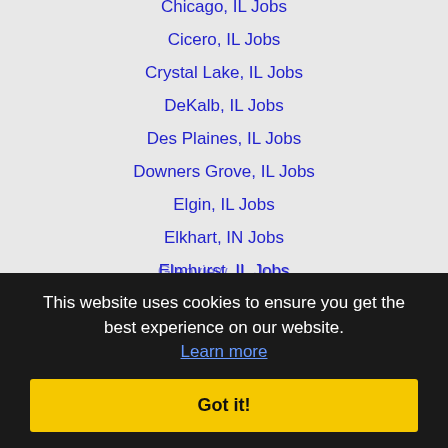Chicago, IL Jobs
Cicero, IL Jobs
Crystal Lake, IL Jobs
DeKalb, IL Jobs
Des Plaines, IL Jobs
Downers Grove, IL Jobs
Elgin, IL Jobs
Elkhart, IN Jobs
Elmhurst, IL Jobs
Evanston, IL Jobs
Glenview, IL Jobs
Joliet, IL Jobs
Kenosha, WI Jobs
Kokomo, IN Jobs
Lafayette, IN Jobs
Lombard, IL Jobs
Michigan City, IN Jobs
This website uses cookies to ensure you get the best experience on our website. Learn more
Got it!